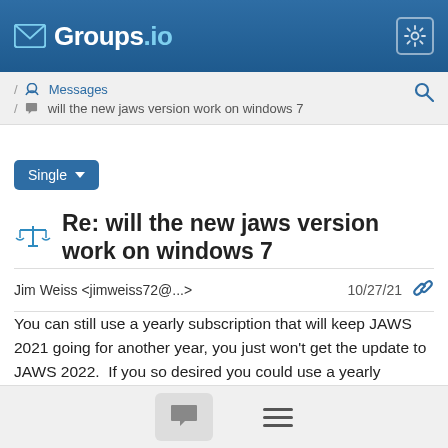Groups.io
Messages / will the new jaws version work on windows 7
Single
Re: will the new jaws version work on windows 7
Jim Weiss <jimweiss72@...>  10/27/21
You can still use a yearly subscription that will keep JAWS 2021 going for another year, you just won't get the update to JAWS 2022.  If you so desired you could use a yearly subscription and stay on JAWS 2020, you are never forced to upgrade.  If you turn off automatic updates and don't check the website you wouldn't